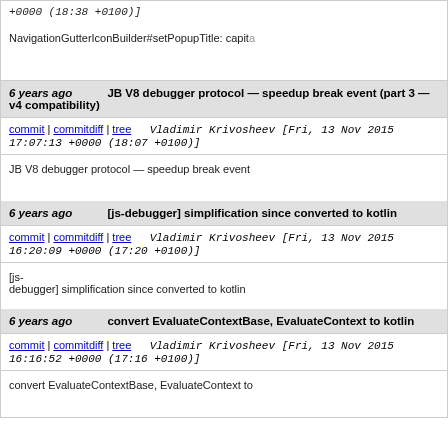commit | commitdiff | tree   Vladimir Krivosheev [Fri, 13 Nov 2021 17:00:21 +0000 (18:38 +0100)]
NavigationGutterIconBuilder#setPopupTitle: capita
6 years ago   JB V8 debugger protocol — speedup break event (part 3 — v4 compatibility)
commit | commitdiff | tree   Vladimir Krivosheev [Fri, 13 Nov 2015 17:07:13 +0000 (18:07 +0100)]
JB V8 debugger protocol — speedup break event
6 years ago   [js-debugger] simplification since converted to kotlin
commit | commitdiff | tree   Vladimir Krivosheev [Fri, 13 Nov 2015 16:20:09 +0000 (17:20 +0100)]
[js-debugger] simplification since converted to kotlin
6 years ago   convert EvaluateContextBase, EvaluateContext to kotlin
commit | commitdiff | tree   Vladimir Krivosheev [Fri, 13 Nov 2015 16:16:52 +0000 (17:16 +0100)]
convert EvaluateContextBase, EvaluateContext to